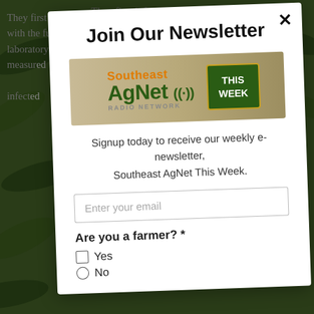They first infected frogs with the fungus in a laboratory and then measured how infected frogs...
Join Our Newsletter
[Figure (logo): Southeast AgNet Radio Network logo with 'This Week' green box badge]
Signup today to receive our weekly e-newsletter, Southeast AgNet This Week.
Enter your email
Are you a farmer? *
Yes
No